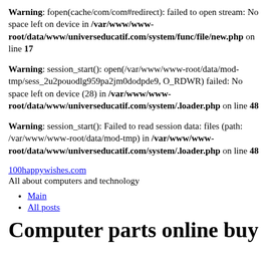Warning: fopen(cache/com/com#redirect): failed to open stream: No space left on device in /var/www/www-root/data/www/universeducatif.com/system/func/file/new.php on line 17
Warning: session_start(): open(/var/www/www-root/data/mod-tmp/sess_2u2pouodlg959pa2jm0dodpde9, O_RDWR) failed: No space left on device (28) in /var/www/www-root/data/www/universeducatif.com/system/.loader.php on line 48
Warning: session_start(): Failed to read session data: files (path: /var/www/www-root/data/mod-tmp) in /var/www/www-root/data/www/universeducatif.com/system/.loader.php on line 48
100happywishes.com
All about computers and technology
Main
All posts
Computer parts online buy